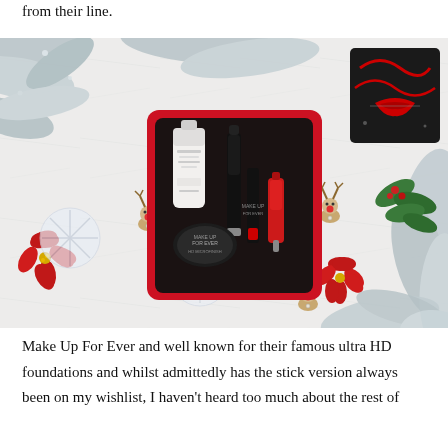from their line.
[Figure (photo): A Make Up For Ever holiday gift set in a red tin box, containing beauty products including a primer, mascara, eyeliner, pressed powder, and red nail polish/lipstick, displayed on a white marble surface decorated with silver tinsel, red poinsettia flowers, reindeer ornaments, and green holly. A black decorative tin with red lips motif is visible in the upper right corner.]
Make Up For Ever and well known for their famous ultra HD foundations and whilst admittedly has the stick version always been on my wishlist, I haven't heard too much about the rest of